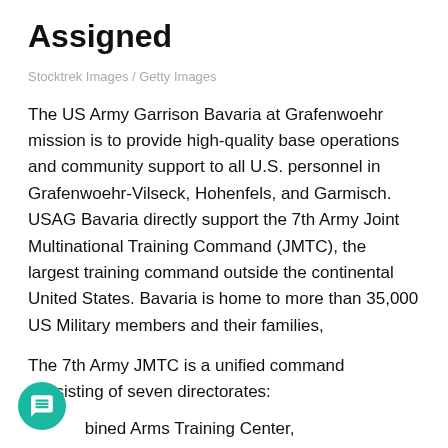Assigned
Stocktrek Images / Getty Images
The US Army Garrison Bavaria at Grafenwoehr mission is to provide high-quality base operations and community support to all U.S. personnel in Grafenwoehr-Vilseck, Hohenfels, and Garmisch. USAG Bavaria directly support the 7th Army Joint Multinational Training Command (JMTC), the largest training command outside the continental United States. Bavaria is home to more than 35,000 US Military members and their families,
The 7th Army JMTC is a unified command consisting of seven directorates:
Combined Arms Training Center,